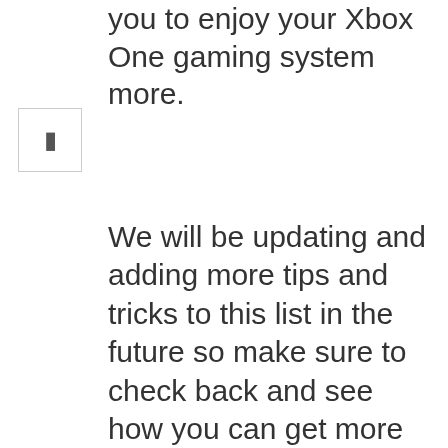of these tips and tricks will help you to enjoy your Xbox One gaming system more.
We will be updating and adding more tips and tricks to this list in the future so make sure to check back and see how you can get more out of your Xbox One.